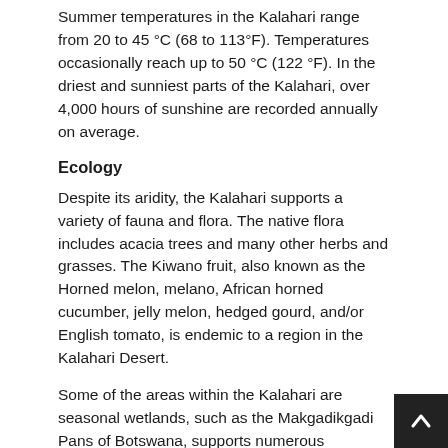Summer temperatures in the Kalahari range from 20 to 45 °C (68 to 113°F). Temperatures occasionally reach up to 50 °C (122 °F). In the driest and sunniest parts of the Kalahari, over 4,000 hours of sunshine are recorded annually on average.
Ecology
Despite its aridity, the Kalahari supports a variety of fauna and flora. The native flora includes acacia trees and many other herbs and grasses. The Kiwano fruit, also known as the Horned melon, melano, African horned cucumber, jelly melon, hedged gourd, and/or English tomato, is endemic to a region in the Kalahari Desert.
Some of the areas within the Kalahari are seasonal wetlands, such as the Makgadikgadi Pans of Botswana, supports numerous halophilic species, and in the rainy season, tens of thousands of flamingos visit these pans.
Game reserves
The Kalahari has a number of game reserves—Tswalu Kalah… South Africa's largest private game reserve, the Central